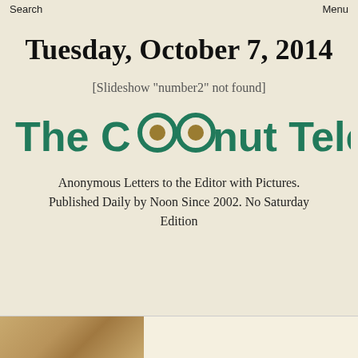Search    Menu
Tuesday, October 7, 2014
[Slideshow "number2" not found]
[Figure (logo): The Coconut Telegraph logo in bold teal/green text with coconut imagery replacing the letter o]
Anonymous Letters to the Editor with Pictures. Published Daily by Noon Since 2002. No Saturday Edition
[Figure (photo): Partial photo visible at bottom of page, appears to be a person or outdoor scene with warm tan/brown tones]